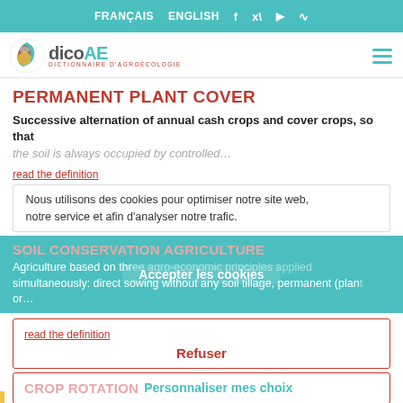FRANÇAIS   ENGLISH   f   y   ▶   RSS
[Figure (logo): DicoAE - Dictionnaire d'Agroécologie logo with circular leaf emblem]
PERMANENT PLANT COVER
Successive alternation of annual cash crops and cover crops, so that the soil is always occupied by controlled…
read the definition
Nous utilisons des cookies pour optimiser notre site web, notre service et afin d'analyser notre trafic.
SOIL CONSERVATION AGRICULTURE
Agriculture based on three agro-economic principles applied simultaneously: direct sowing without any soil tillage, permanent (plant or…
Accepter les cookies
read the definition
Refuser
CROP ROTATION
Personnaliser mes choix
Politique de cookies   Politique de confidentialité